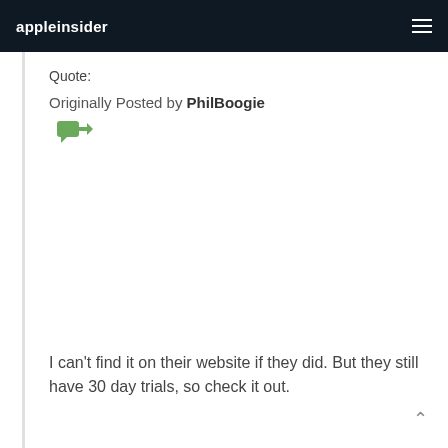appleinsider
Quote:
Originally Posted by PhilBoogie
[Figure (illustration): Green speech bubble with arrow (reply icon)]
I can't find it on their website if they did. But they still have 30 day trials, so check it out.
One thing they still didn't get right: